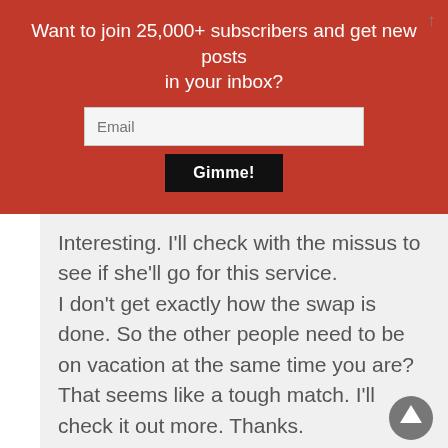Want to join 25,000+ subscribers and get new posts in your inbox?
Interesting. I'll check with the missus to see if she'll go for this service. I don't get exactly how the swap is done. So the other people need to be on vacation at the same time you are? That seems like a tough match. I'll check it out more. Thanks.
Reply